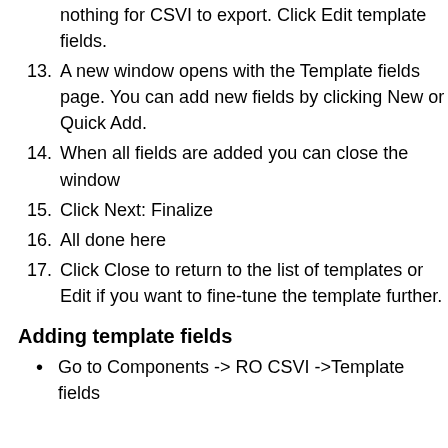12. (continued) nothing for CSVI to export. Click Edit template fields.
13. A new window opens with the Template fields page. You can add new fields by clicking New or Quick Add.
14. When all fields are added you can close the window
15. Click Next: Finalize
16. All done here
17. Click Close to return to the list of templates or Edit if you want to fine-tune the template further.
Adding template fields
Go to Components -> RO CSVI ->Template fields